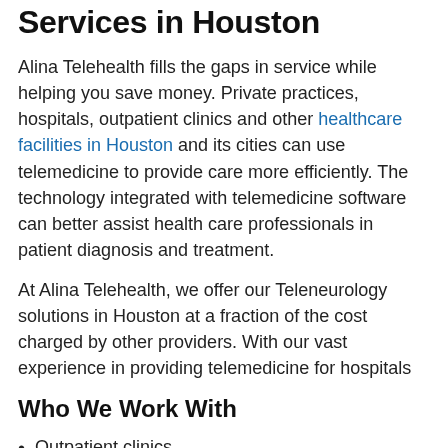Services in Houston
Alina Telehealth fills the gaps in service while helping you save money. Private practices, hospitals, outpatient clinics and other healthcare facilities in Houston and its cities can use telemedicine to provide care more efficiently. The technology integrated with telemedicine software can better assist health care professionals in patient diagnosis and treatment.
At Alina Telehealth, we offer our Teleneurology solutions in Houston at a fraction of the cost charged by other providers. With our vast experience in providing telemedicine for hospitals
Who We Work With
Outpatient clinics